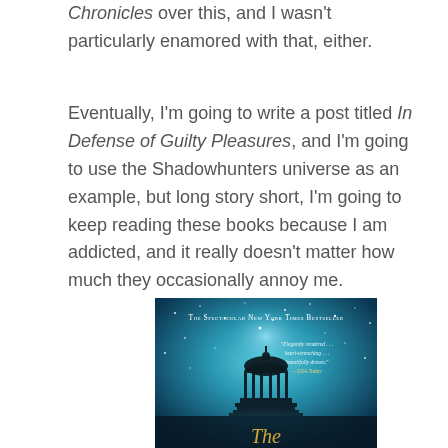Chronicles over this, and I wasn't particularly enamored with that, either.
Eventually, I'm going to write a post titled In Defense of Guilty Pleasures, and I'm going to use the Shadowhunters universe as an example, but long story short, I'm going to keep reading these books because I am addicted, and it really doesn't matter how much they occasionally annoy me.
[Figure (photo): Book cover with teal/blue starry night sky background showing a gazebo silhouette. Text reads 'The Spectacular New York Times Bestseller' at the top and a quote 'Elegantly rendered... heart-wrenching... beautifully drawn.' — USA Today. The word 'The' appears in gold script at the bottom.]